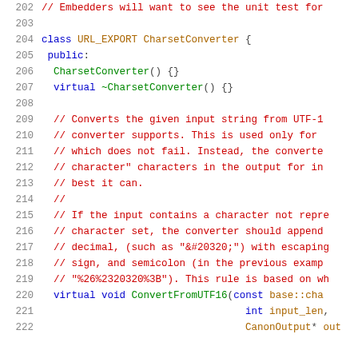[Figure (screenshot): Source code listing showing lines 202-222 of a C++ header file defining the CharsetConverter class, with syntax highlighting in blue, red, and orange on white background.]